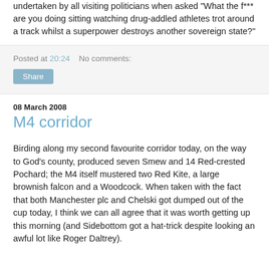undertaken by all visiting politicians when asked "What the f*** are you doing sitting watching drug-addled athletes trot around a track whilst a superpower destroys another sovereign state?"
Posted at 20:24    No comments:
Share
08 March 2008
M4 corridor
Birding along my second favourite corridor today, on the way to God's county, produced seven Smew and 14 Red-crested Pochard; the M4 itself mustered two Red Kite, a large brownish falcon and a Woodcock. When taken with the fact that both Manchester plc and Chelski got dumped out of the cup today, I think we can all agree that it was worth getting up this morning (and Sidebottom got a hat-trick despite looking an awful lot like Roger Daltrey).